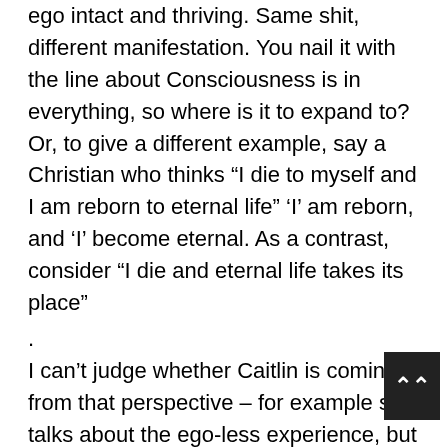ego intact and thriving. Same shit, different manifestation. You nail it with the line about Consciousness is in everything, so where is it to expand to? Or, to give a different example, say a Christian who thinks "I die to myself and I am reborn to eternal life" 'I' am reborn, and 'I' become eternal. As a contrast, consider "I die and eternal life takes its place"
.
I can't judge whether Caitlin is coming from that perspective – for example she talks about the ego-less experience, but it's certainly a trap for the unwary. Moreover, if someone transfers the ego from a material body ego to a boundless space like ego, then they
[Figure (other): Dark grey scroll-to-top button with double upward chevron arrows]